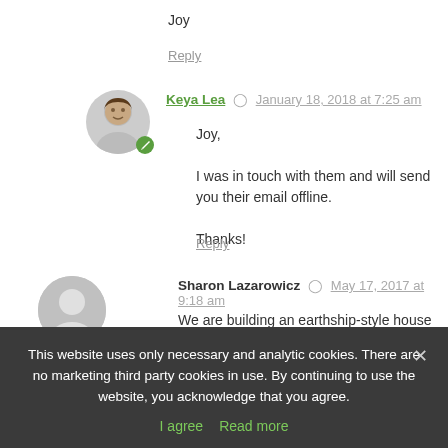Joy
Reply
Keya Lea  January 18, 2018 at 7:25 am
Joy,

I was in touch with them and will send you their email offline.

Thanks!
Reply
Sharon Lazarowicz  May 17, 2017 at 9:18 am
We are building an earthship-style house in Colorado. We have used tire bales in place of rammed earth individual tires. The bales are slightly compressed whole tires bound with steel
This website uses only necessary and analytic cookies. There are no marketing third party cookies in use. By continuing to use the website, you acknowledge that you agree.
I agree  Read more